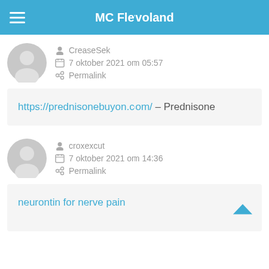MC Flevoland
CreaseSek
7 oktober 2021 om 05:57
Permalink
https://prednisonebuyon.com/ – Prednisone
croxexcut
7 oktober 2021 om 14:36
Permalink
neurontin for nerve pain